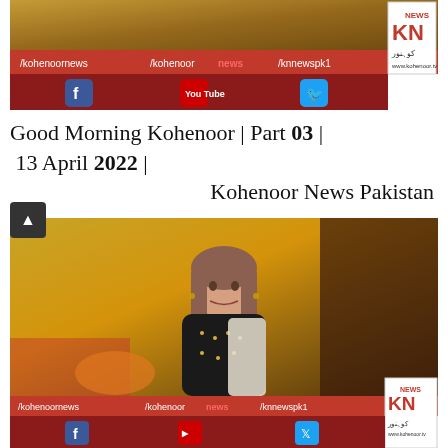[Figure (screenshot): Kohenoor News TV channel screenshot showing social media handles (/kohenoornews, /kohenoor news, /knnewspk1) with Facebook, YouTube, Twitter icons on red banner, and KN News logo with www.kohenoor.tv]
Good Morning Kohenoor | Part 03 | 13 April 2022 | Kohenoor News Pakistan
[Figure (screenshot): Kohenoor News TV broadcast screenshot showing a female news anchor in black embroidered dress in a TV studio with golden decor background, same social media banner at bottom with KN News logo]